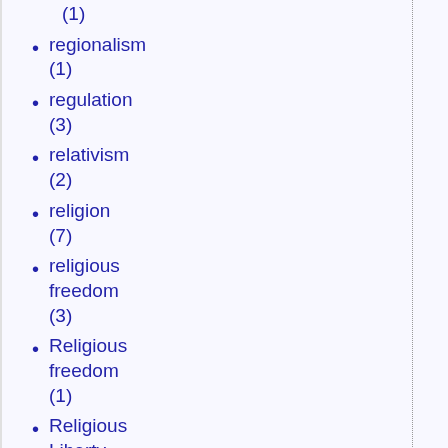(1)
regionalism (1)
regulation (3)
relativism (2)
religion (7)
religious freedom (3)
Religious freedom (1)
Religious Liberty (2)
religious liberty (20)
religious persecution (11)
religious